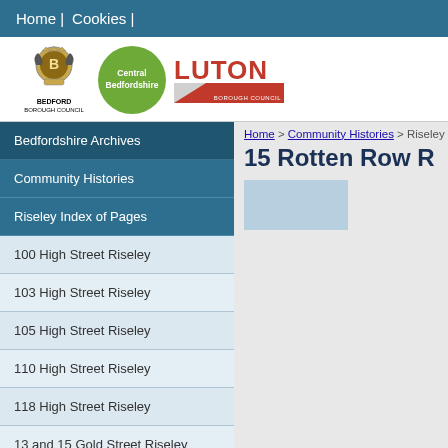Home | Cookies |
[Figure (logo): Bedford Borough Council crest and logo, Central Bedfordshire green circle logo, Luton Borough Council red logo]
Home > Community Histories > Riseley
15 Rotten Row R
Bedfordshire Archives
Community Histories
Riseley Index of Pages
100 High Street Riseley
103 High Street Riseley
105 High Street Riseley
110 High Street Riseley
118 High Street Riseley
13 and 15 Gold Street Riseley